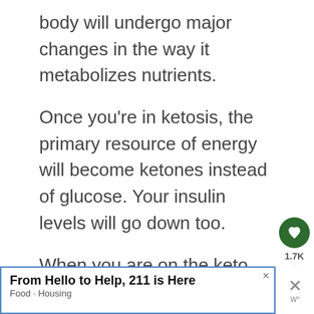body will undergo major changes in the way it metabolizes nutrients.
Once you're in ketosis, the primary resource of energy will become ketones instead of glucose. Your insulin levels will go down too.
When you are on the keto diet, you want to keep track of your ketosis. That will help you to understand whether you're
[Figure (other): Ad banner: From Hello to Help, 211 is Here. Food · Housing]